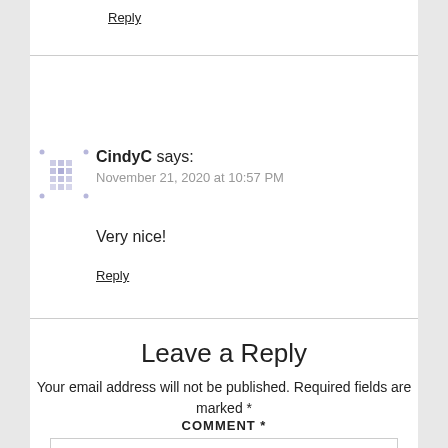Reply
CindyC says:
November 21, 2020 at 10:57 PM
Very nice!
Reply
Leave a Reply
Your email address will not be published. Required fields are marked *
COMMENT *